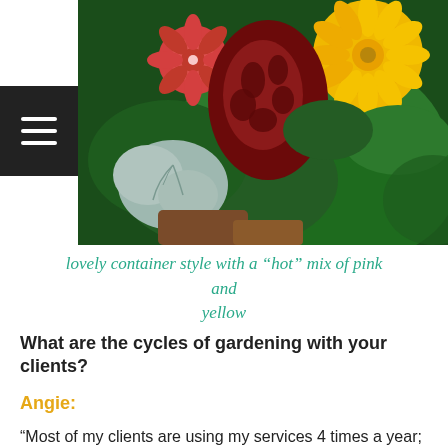[Figure (photo): Close-up photo of colorful garden container plants including red/pink flowers, dark red patterned leaves (coleus), silver dusty miller foliage, and bright yellow zinnia flowers with large green leaves]
lovely container style with a “hot” mix of pink and yellow
What are the cycles of gardening with your clients?
Angie:
“Most of my clients are using my services 4 times a year; I’m creating container gardens for their outdoor spaces for every season. In the summertime, clients generally want colorful flowers and vibrant foliage. Summer annual flowers generally start to die off in